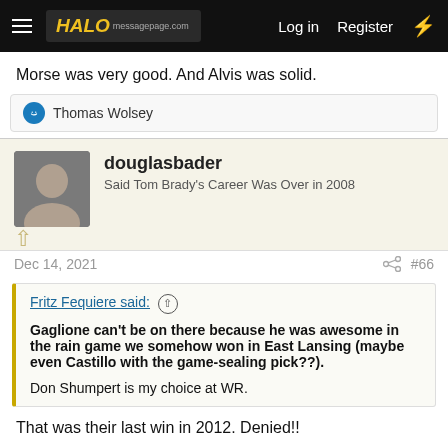HALO messagepage.com — Log in  Register
Morse was very good. And Alvis was solid.
Thomas Wolsey
douglasbader
Said Tom Brady's Career Was Over in 2008
Dec 14, 2021  #66
Fritz Fequiere said: ↑
Gaglione can't be on there because he was awesome in the rain game we somehow won in East Lansing (maybe even Castillo with the game-sealing pick??).
Don Shumpert is my choice at WR.
That was their last win in 2012. Denied!!
I will consider Shumpert, but someone at WR has to go